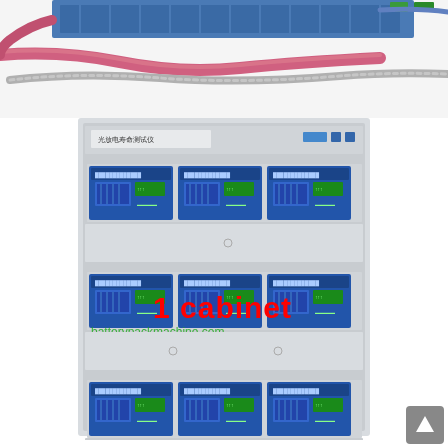[Figure (photo): Top portion showing battery pack testing machine with visible cables (red/pink and silver braided wires) connected to a blue equipment unit with ventilation grilles]
[Figure (photo): Battery formation/testing cabinet in gray enclosure with multiple blue modules arranged in rows (3 columns x multiple rows). Red text overlay reads '1 cabinet' and '12 points'. Watermark text 'batterypackmachine.com' in green.]
[Figure (other): Gray scroll-to-top button in bottom right corner with upward arrow]